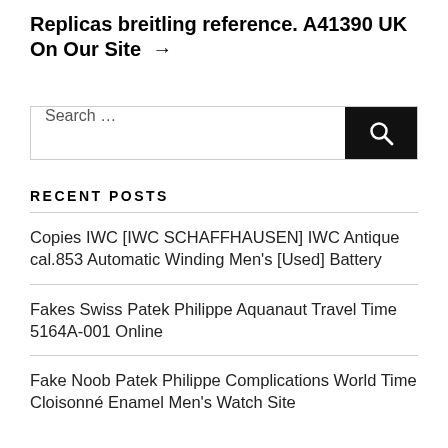Replicas breitling reference. A41390 UK On Our Site →
Search …
RECENT POSTS
Copies IWC [IWC SCHAFFHAUSEN] IWC Antique cal.853 Automatic Winding Men's [Used] Battery
Fakes Swiss Patek Philippe Aquanaut Travel Time 5164A-001 Online
Fake Noob Patek Philippe Complications World Time Cloisonné Enamel Men's Watch Site